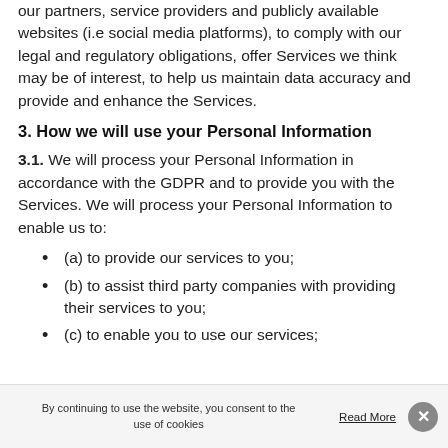our partners, service providers and publicly available websites (i.e social media platforms), to comply with our legal and regulatory obligations, offer Services we think may be of interest, to help us maintain data accuracy and provide and enhance the Services.
3. How we will use your Personal Information
3.1. We will process your Personal Information in accordance with the GDPR and to provide you with the Services. We will process your Personal Information to enable us to:
(a) to provide our services to you;
(b) to assist third party companies with providing their services to you;
(c) to enable you to use our services;
By continuing to use the website, you consent to the use of cookies   Read More